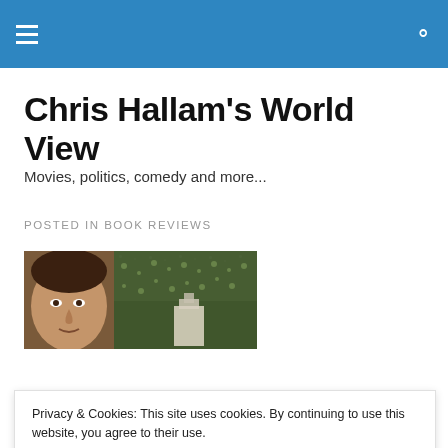Chris Hallam's World View — navigation bar
Chris Hallam's World View
Movies, politics, comedy and more...
POSTED IN BOOK REVIEWS
[Figure (photo): Book cover image showing a historical portrait face and crowd scene]
Privacy & Cookies: This site uses cookies. By continuing to use this website, you agree to their use.
To find out more, including how to control cookies, see here: Cookie Policy
[Figure (photo): Second book cover image (partial, bottom of page)]